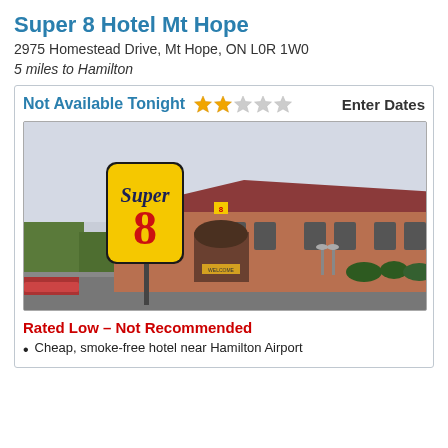Super 8 Hotel Mt Hope
2975 Homestead Drive, Mt Hope, ON L0R 1W0
5 miles to Hamilton
Not Available Tonight   ★★☆☆☆   Enter Dates
[Figure (photo): Exterior photo of Super 8 Hotel Mt Hope showing the large yellow Super 8 sign on a pole and the two-story brick hotel building with red roof]
Rated Low – Not Recommended
Cheap, smoke-free hotel near Hamilton Airport